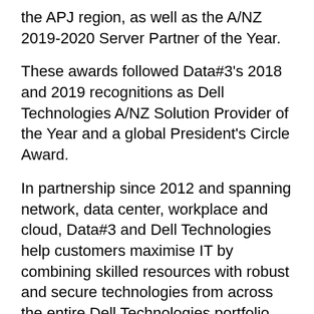the APJ region, as well as the A/NZ 2019-2020 Server Partner of the Year.
These awards followed Data#3's 2018 and 2019 recognitions as Dell Technologies A/NZ Solution Provider of the Year and a global President's Circle Award.
In partnership since 2012 and spanning network, data center, workplace and cloud, Data#3 and Dell Technologies help customers maximise IT by combining skilled resources with robust and secure technologies from across the entire Dell Technologies portfolio.
In March, Data#3 launched remote working solutions to empower employees and employers making the move to working from home following the Government COVID-19 lockdown announcement.
According to the company, there has been a